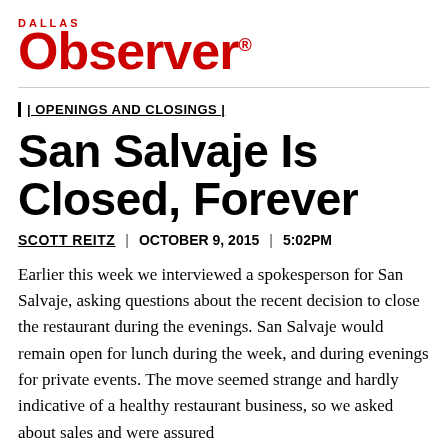[Figure (logo): Dallas Observer logo in red with 'Dallas' text above in small caps]
| OPENINGS AND CLOSINGS |
San Salvaje Is Closed, Forever
SCOTT REITZ | OCTOBER 9, 2015 | 5:02PM
Earlier this week we interviewed a spokesperson for San Salvaje, asking questions about the recent decision to close the restaurant during the evenings. San Salvaje would remain open for lunch during the week, and during evenings for private events. The move seemed strange and hardly indicative of a healthy restaurant business, so we asked about sales and were assured that...